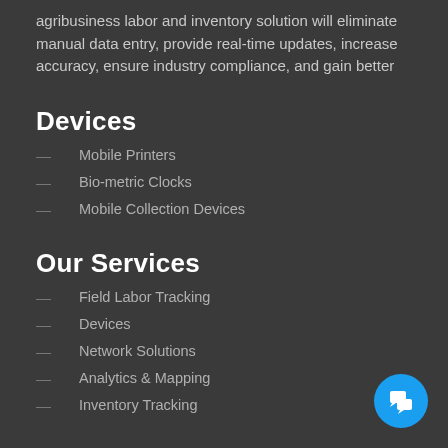agribusiness labor and inventory solution will eliminate manual data entry, provide real-time updates, increase accuracy, ensure industry compliance, and gain better
Devices
Mobile Printers
Bio-metric Clocks
Mobile Collection Devices
Our Services
Field Labor Tracking
Devices
Network Solutions
Analytics & Mapping
Inventory Tracking